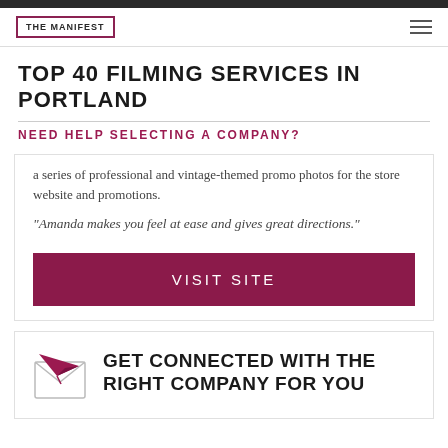THE MANIFEST
TOP 40 FILMING SERVICES IN PORTLAND
NEED HELP SELECTING A COMPANY?
a series of professional and vintage-themed promo photos for the store website and promotions.
"Amanda makes you feel at ease and gives great directions."
VISIT SITE
GET CONNECTED WITH THE RIGHT COMPANY FOR YOU